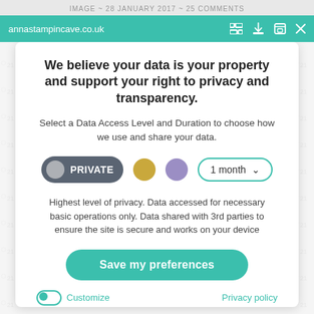IMAGE ~ 28 JANUARY 2017 ~ 25 COMMENTS
annastampincave.co.uk
We believe your data is your property and support your right to privacy and transparency.
Select a Data Access Level and Duration to choose how we use and share your data.
[Figure (infographic): Privacy controls row showing: PRIVATE toggle button (dark gray pill with gray circle), gold circle, purple circle, and '1 month' dropdown selector with teal border]
Highest level of privacy. Data accessed for necessary basic operations only. Data shared with 3rd parties to ensure the site is secure and works on your device
Save my preferences
Customize
Privacy policy